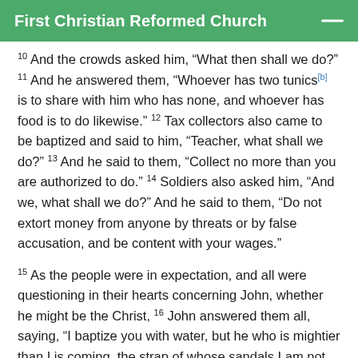First Christian Reformed Church
10 And the crowds asked him, “What then shall we do?” 11 And he answered them, “Whoever has two tunics[b] is to share with him who has none, and whoever has food is to do likewise.” 12 Tax collectors also came to be baptized and said to him, “Teacher, what shall we do?” 13 And he said to them, “Collect no more than you are authorized to do.” 14 Soldiers also asked him, “And we, what shall we do?” And he said to them, “Do not extort money from anyone by threats or by false accusation, and be content with your wages.”
15 As the people were in expectation, and all were questioning in their hearts concerning John, whether he might be the Christ, 16 John answered them all, saying, “I baptize you with water, but he who is mightier than I is coming, the strap of whose sandals I am not worthy to untie.